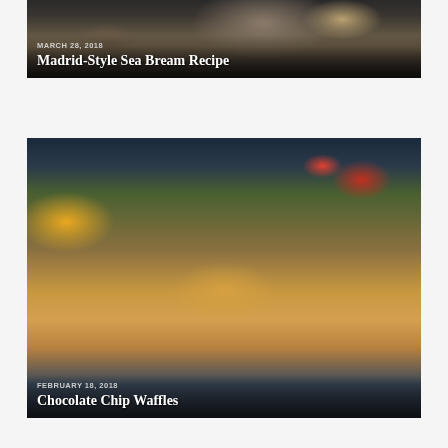[Figure (photo): Food photo of Madrid-Style Sea Bream Recipe with date overlay MARCH 28, 2018 and title text]
[Figure (photo): Food photo of Chocolate Chip Waffles topped with fruit (orange slice, kiwi, strawberries) with date overlay FEBRUARY 18, 2018 and title text]